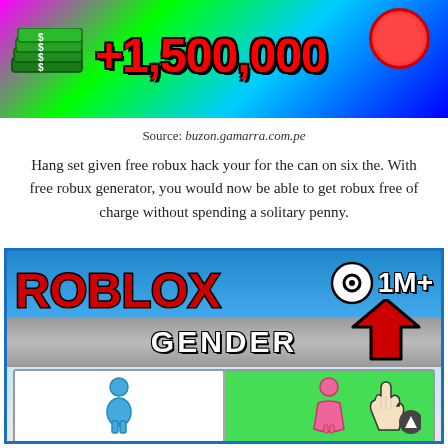[Figure (screenshot): Top banner image showing a money stack graphic with red text '+1,500,000' on a colorful gradient background (magenta, green, cyan, blue). A red circle is visible in the upper right.]
Source: buzon.gamarra.com.pe
Hang set given free robux hack your for the can on six the. With free robux generator, you would now be able to get robux free of charge without spending a solitary penny.
[Figure (screenshot): Roblox game screenshot showing a gender selection screen with the Roblox logo, '1M+' robux badge, a 'GENDER' bar with an arrow, and a gender selector showing male (blue figure) and female (pink figure) options with a hand cursor clicking the female side (green background).]